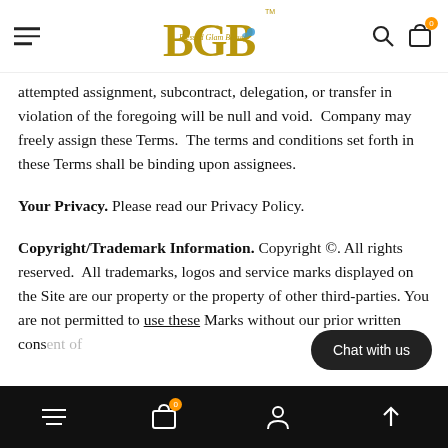BGB (Blessed Glam Beauty) navigation bar with logo, hamburger menu, search and bag icons
attempted assignment, subcontract, delegation, or transfer in violation of the foregoing will be null and void.  Company may freely assign these Terms.  The terms and conditions set forth in these Terms shall be binding upon assignees.
Your Privacy. Please read our Privacy Policy.
Copyright/Trademark Information. Copyright ©. All rights reserved.  All trademarks, logos and service marks displayed on the Site are our property or the property of other third-parties. You are not permitted to use these Marks without our prior written cons[ent of and this license, which may…
Bottom navigation bar with hamburger, bag (0), person, and up-arrow icons